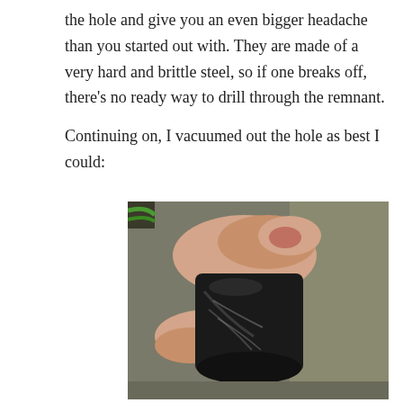the hole and give you an even bigger headache than you started out with. They are made of a very hard and brittle steel, so if one breaks off, there's no ready way to drill through the remnant.

Continuing on, I vacuumed out the hole as best I could:
[Figure (photo): A hand holding a dirty black cylindrical vacuum attachment or nozzle against a metal surface, with green wires visible in the background.]